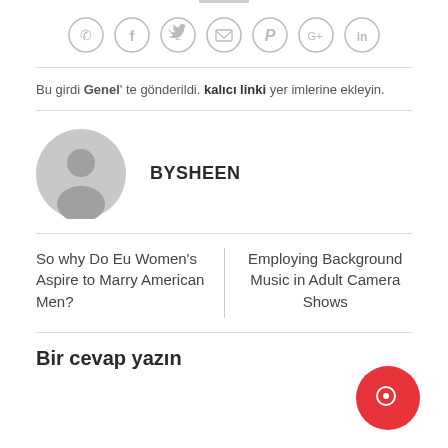[Figure (other): Social sharing icons row: phone, facebook, twitter, email, pinterest, google+, linkedin — all in gray circle outlines]
Bu girdi Genel' te gönderildi. kalıcı linki yer imlerine ekleyin.
[Figure (other): Gray default user avatar circle with silhouette]
BYSHEEN
So why Do Eu Women's Aspire to Marry American Men?
Employing Background Music in Adult Camera Shows
Bir cevap yazın